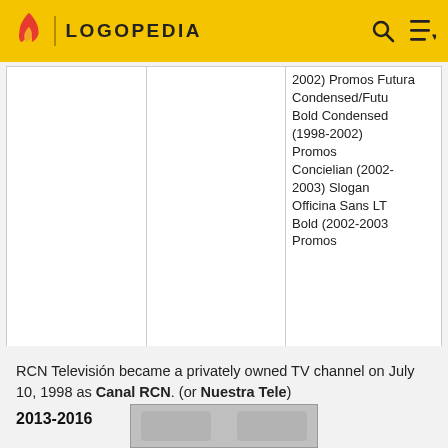LOGOPEDIA
|  |  | 2002) Promos Futura Condensed/Futura Bold Condensed (1998-2002) Promos Concielian (2002-2003) Slogan Officina Sans LT Bold (2002-2003) Promos |
RCN Televisión became a privately owned TV channel on July 10, 1998 as Canal RCN. (or Nuestra Tele)
2013-2016
[Figure (logo): Partial logo thumbnail at bottom of page]